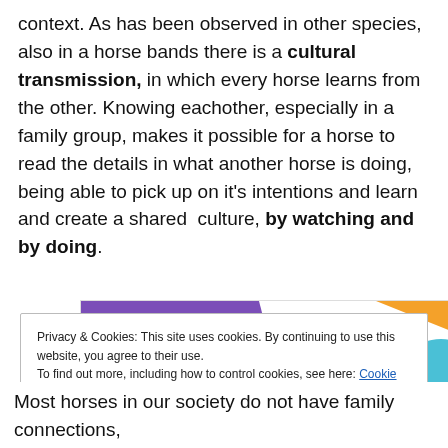context. As has been observed in other species, also in a horse bands there is a cultural transmission, in which every horse learns from the other. Knowing eachother, especially in a family group, makes it possible for a horse to read the details in what another horse is doing, being able to pick up on it's intentions and learn and create a shared culture, by watching and by doing.
[Figure (screenshot): WooCommerce advertisement banner: 'How to start selling subscriptions online']
Privacy & Cookies: This site uses cookies. By continuing to use this website, you agree to their use. To find out more, including how to control cookies, see here: Cookie Policy. Close and accept.
Most horses in our society do not have family connections,